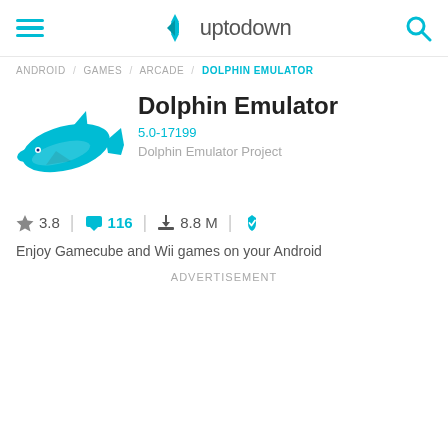uptodown
ANDROID / GAMES / ARCADE / DOLPHIN EMULATOR
Dolphin Emulator
5.0-17199
Dolphin Emulator Project
3.8 | 116 | 8.8 M |
Enjoy Gamecube and Wii games on your Android
ADVERTISEMENT